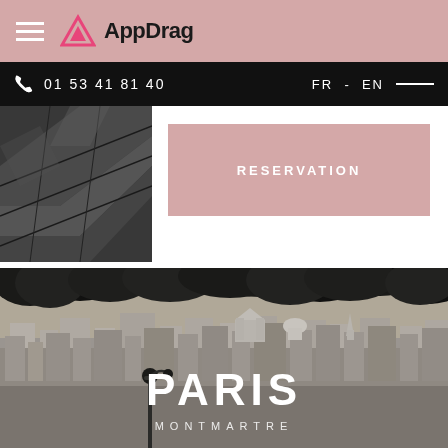AppDrag
01 53 41 81 40   FR - EN
[Figure (photo): Partial view of dark stone/pavement surface, cropped image in upper left area]
RESERVATION
[Figure (photo): Aerial panoramic view of Paris, Montmartre rooftops with dark trees in foreground]
PARIS
MONTMARTRE